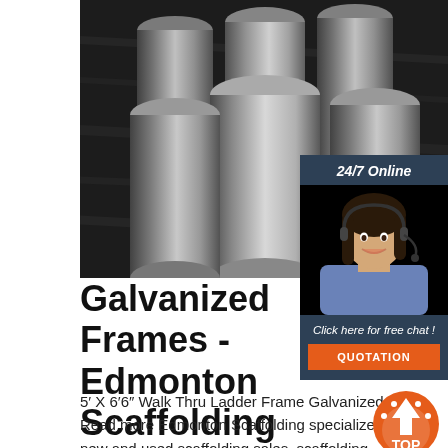[Figure (photo): Black and white photo of multiple cylindrical metal rods/pipes stacked together, viewed from the end showing circular cross-sections]
[Figure (photo): Online customer service widget with dark blue header showing '24/7 Online', photo of woman with headset smiling, 'Click here for free chat!' text, and orange QUOTATION button]
Galvanized Frames - Edmonton Scaffolding
5' X 6'6" Walk Thru Ladder Frame Galvanized Read more Edmonton Scaffolding specializes in new and used scaffolding sales, scaffolding rentals and scaffolding related products proudly based in Edmonton Alberta, Canada
[Figure (logo): Orange TOP logo with arrow pointing up]